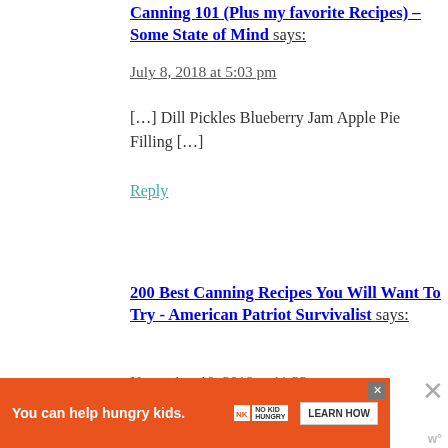Canning 101 (Plus my favorite Recipes) – Some State of Mind says:
July 8, 2018 at 5:03 pm
[…] Dill Pickles Blueberry Jam Apple Pie Filling […]
Reply
200 Best Canning Recipes You Will Want To Try - American Patriot Survivalist says:
November 18, 2019 at 11:32 am
[Figure (infographic): Orange advertisement banner: 'You can help hungry kids.' with No Kid Hungry logo and LEARN HOW button. Has a close X button in top right corner.]